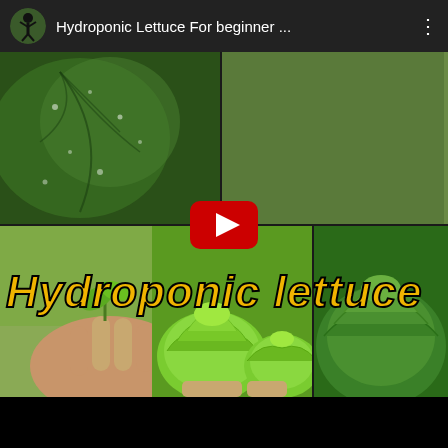Hydroponic Lettuce For beginner ...
[Figure (screenshot): YouTube video thumbnail screenshot showing a collage of hydroponic lettuce images with a large yellow italic overlay text reading 'Hydroponic lettuce' and a YouTube play button in the center. Top bar shows channel avatar, title 'Hydroponic Lettuce For beginner ...' and three-dot menu.]